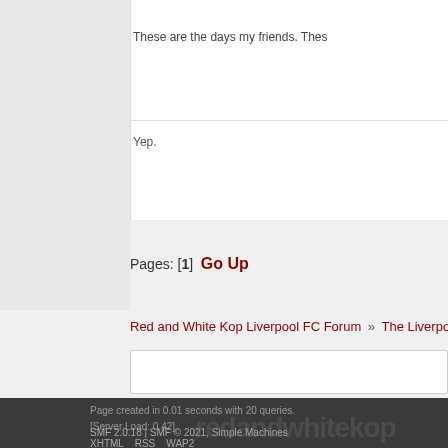These are the days my friends. Thes
Yep.
Pages: [1]  Go Up
Red and White Kop Liverpool FC Forum » The Liverpool FC Forum » O
Page created in 0.01 seconds with 20 queries. [Server Load: 0.42]
SMF 2.0.18 | SMF © 2021, Simple Machines
XHTML  RSS  WAP2